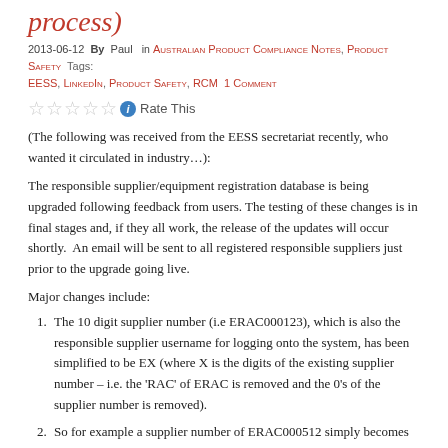process)
2013-06-12  By  Paul  in Australian Product Compliance Notes, Product Safety  Tags: EESS, LinkedIn, Product Safety, RCM  1 Comment
☆☆☆☆☆ ℹ Rate This
(The following was received from the EESS secretariat recently, who wanted it circulated in industry…):
The responsible supplier/equipment registration database is being upgraded following feedback from users. The testing of these changes is in final stages and, if they all work, the release of the updates will occur shortly.  An email will be sent to all registered responsible suppliers just prior to the upgrade going live.
Major changes include:
The 10 digit supplier number (i.e ERAC000123), which is also the responsible supplier username for logging onto the system, has been simplified to be EX (where X is the digits of the existing supplier number – i.e. the 'RAC' of ERAC is removed and the 0's of the supplier number is removed).
So for example a supplier number of ERAC000512 simply becomes